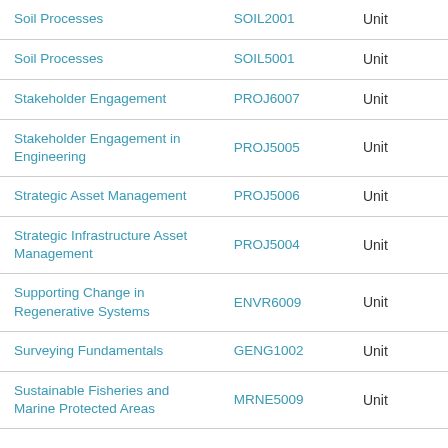| Soil Processes | SOIL2001 | Unit |
| Soil Processes | SOIL5001 | Unit |
| Stakeholder Engagement | PROJ6007 | Unit |
| Stakeholder Engagement in Engineering | PROJ5005 | Unit |
| Strategic Asset Management | PROJ5006 | Unit |
| Strategic Infrastructure Asset Management | PROJ5004 | Unit |
| Supporting Change in Regenerative Systems | ENVR6009 | Unit |
| Surveying Fundamentals | GENG1002 | Unit |
| Sustainable Fisheries and Marine Protected Areas | MRNE5009 | Unit |